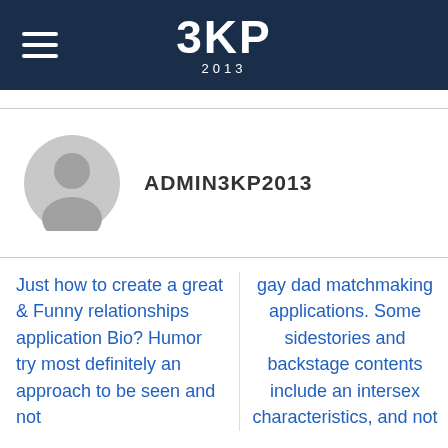[Figure (logo): 3KP 2013 logo in white text on dark navy background with hamburger menu icon on left]
[Figure (illustration): Grey default user avatar circle with person silhouette]
ADMIN3KP2013
Just how to create a great & Funny relationships application Bio? Humor try most definitely an approach to be seen and not
gay dad matchmaking applications. Some sidestories and backstage contents include an intersex characteristics, and not